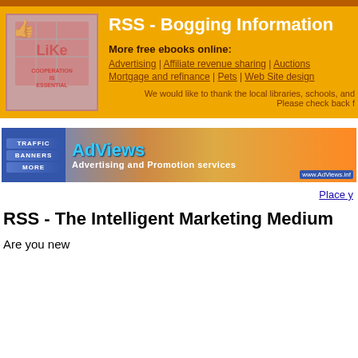RSS - Bogging Information
More free ebooks online:
Advertising | Affiliate revenue sharing | Auctions
Mortgage and refinance | Pets | Web Site design
We would like to thank the local libraries, schools, and Please check back f
[Figure (screenshot): AdViews Advertising and Promotion services banner with Traffic, Banners, More buttons on left]
Place y
RSS - The Intelligent Marketing Medium
Are you new